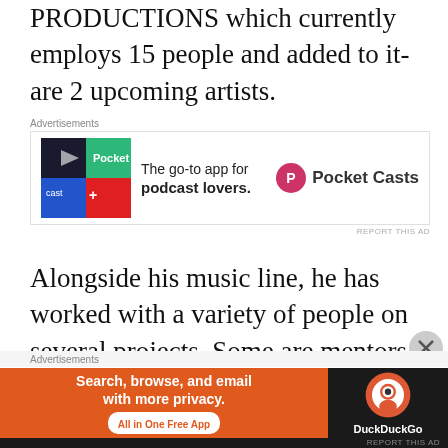PRODUCTIONS which currently employs 15 people and added to it- are 2 upcoming artists.
[Figure (infographic): Pocket Casts advertisement banner: colorful app icon on left, text 'The go-to app for podcast lovers.' in center, Pocket Casts logo on right. Label 'Advertisements' above.]
Alongside his music line, he has worked with a variety of people on several projects. Some are mentors and others co-partners.  He will not overlook symbolic epic collaborations  he had with faces like Neyo, Davido, Patoranking, Olve Flakne, Alaine, Sautisol, Nazizi, Wizkid, Yxng
[Figure (infographic): DuckDuckGo advertisement banner: orange section with text 'Search, browse, and email with more privacy. All in One Free App', dark section with DuckDuckGo logo. Label 'Advertisements' above.]